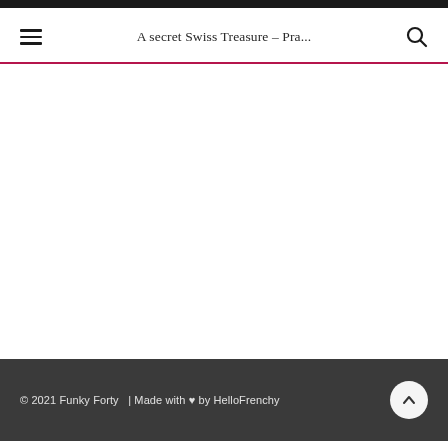A secret Swiss Treasure – Pra...
© 2021 Funky Forty  | Made with ♥ by HelloFrenchy